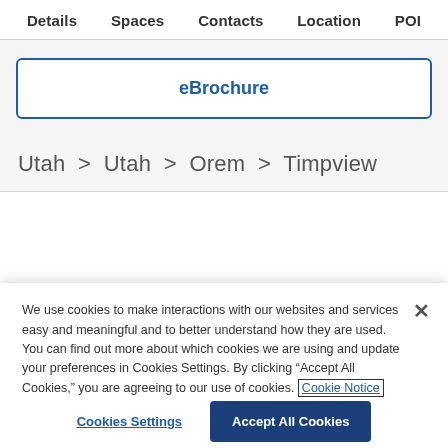Details   Spaces   Contacts   Location   POI
eBrochure
Utah > Utah > Orem > Timpview
We use cookies to make interactions with our websites and services easy and meaningful and to better understand how they are used. You can find out more about which cookies we are using and update your preferences in Cookies Settings. By clicking "Accept All Cookies," you are agreeing to our use of cookies. Cookie Notice
Cookies Settings
Accept All Cookies